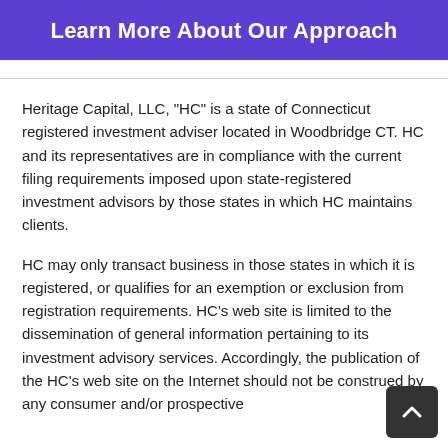Learn More About Our Approach
Heritage Capital, LLC, "HC" is a state of Connecticut registered investment adviser located in Woodbridge CT. HC and its representatives are in compliance with the current filing requirements imposed upon state-registered investment advisors by those states in which HC maintains clients.
HC may only transact business in those states in which it is registered, or qualifies for an exemption or exclusion from registration requirements. HC's web site is limited to the dissemination of general information pertaining to its investment advisory services. Accordingly, the publication of the HC's web site on the Internet should not be construed by any consumer and/or prospective